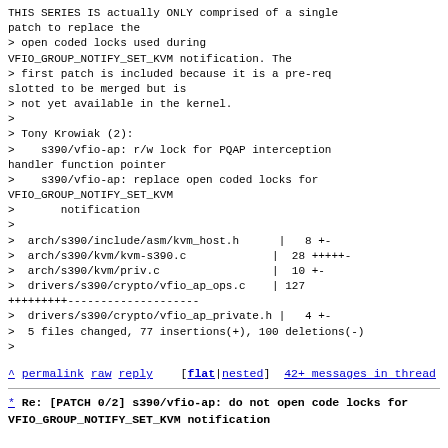THIS SERIES IS actually ONLY comprised of a single patch to replace the
> open coded locks used during VFIO_GROUP_NOTIFY_SET_KVM notification. The
> first patch is included because it is a pre-req slotted to be merged but is
> not yet available in the kernel.
>
> Tony Krowiak (2):
>    s390/vfio-ap: r/w lock for PQAP interception handler function pointer
>    s390/vfio-ap: replace open coded locks for VFIO_GROUP_NOTIFY_SET_KVM
>       notification
>
>  arch/s390/include/asm/kvm_host.h      |   8 +-
>  arch/s390/kvm/kvm-s390.c             |  28 +++++-
>  arch/s390/kvm/priv.c                 |  10 +-
>  drivers/s390/crypto/vfio_ap_ops.c    | 127 +++++++++--------------------
>  drivers/s390/crypto/vfio_ap_private.h |   4 +-
>  5 files changed, 77 insertions(+), 100 deletions(-)
>
^ permalink raw reply   [flat|nested] 42+ messages in thread
* Re: [PATCH 0/2] s390/vfio-ap: do not open code locks for VFIO_GROUP_NOTIFY_SET_KVM notification